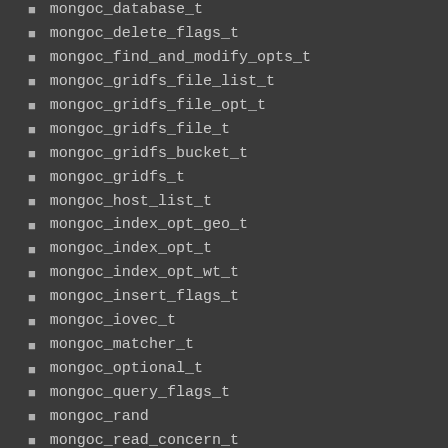mongoc_database_t
mongoc_delete_flags_t
mongoc_find_and_modify_opts_t
mongoc_gridfs_file_list_t
mongoc_gridfs_file_opt_t
mongoc_gridfs_file_t
mongoc_gridfs_bucket_t
mongoc_gridfs_t
mongoc_host_list_t
mongoc_index_opt_geo_t
mongoc_index_opt_t
mongoc_index_opt_wt_t
mongoc_insert_flags_t
mongoc_iovec_t
mongoc_matcher_t
mongoc_optional_t
mongoc_query_flags_t
mongoc_rand
mongoc_read_concern_t
mongoc_read_mode_t
mongoc_read_prefs_t
mongoc_remove_flags_t